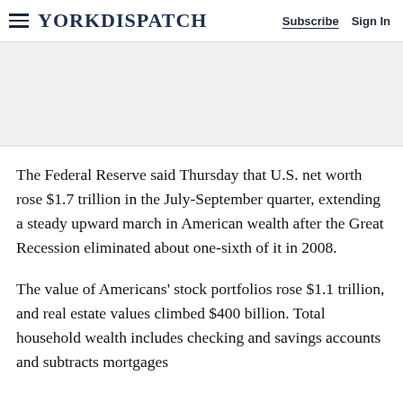YORKDISPATCH | Subscribe | Sign In
[Figure (other): Gray advertisement banner area]
The Federal Reserve said Thursday that U.S. net worth rose $1.7 trillion in the July-September quarter, extending a steady upward march in American wealth after the Great Recession eliminated about one-sixth of it in 2008.
The value of Americans' stock portfolios rose $1.1 trillion, and real estate values climbed $400 billion. Total household wealth includes checking and savings accounts and subtracts mortgages